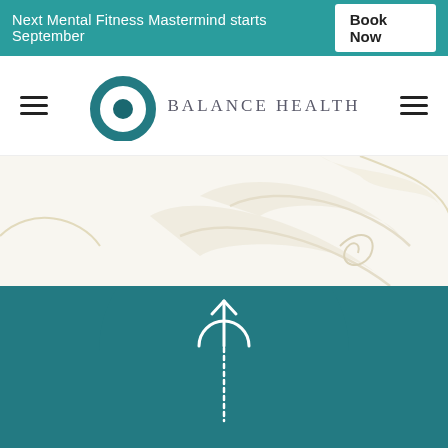Next Mental Fitness Mastermind starts September  Book Now
[Figure (logo): Balance Health logo with teal circular ring icon and spaced serif text 'BALANCE HEALTH']
[Figure (illustration): Decorative floral/leaf swirl illustration in light beige/cream tones on white background]
[Figure (illustration): Scroll-to-top arrow icon in white on teal background with circular arc above arrow]